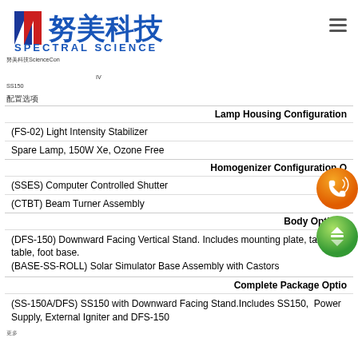[Figure (logo): Spectral Science (努美科技) company logo with Chinese characters and blue/red graphic]
努美科技ScienceCon（中文描述文字） SS150系列太阳模拟器产品配置选项
配置选项
| Lamp Housing Configuration |
| (FS-02) Light Intensity Stabilizer |
| Spare Lamp, 150W Xe, Ozone Free |
| Homogenizer Configuration Options |
| (SSES) Computer Controlled Shutter |
| (CTBT) Beam Turner Assembly |
| Body Options |
| (DFS-150) Downward Facing Vertical Stand. Includes mounting plate, target table, foot base. |
| (BASE-SS-ROLL) Solar Simulator Base Assembly with Castors |
| Complete Package Options |
| (SS-150A/DFS) SS150 with Downward Facing Stand.Includes SS150,  Power Supply, External Igniter and DFS-150 |
更多